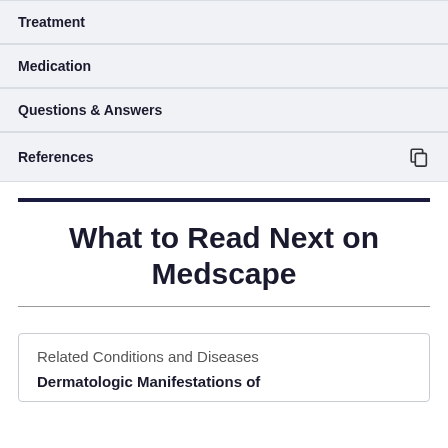Treatment
Medication
Questions & Answers
References
What to Read Next on Medscape
Related Conditions and Diseases
Dermatologic Manifestations of